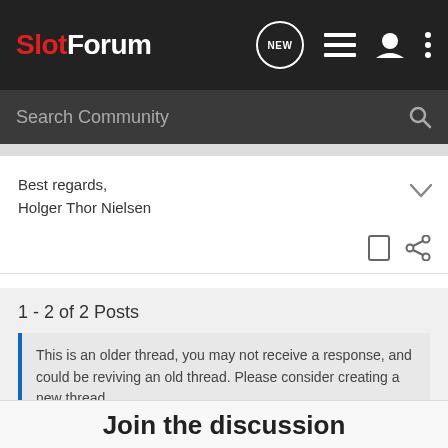SlotForum
Search Community
Best regards,
Holger Thor Nielsen
1 - 2 of 2 Posts
This is an older thread, you may not receive a response, and could be reviving an old thread. Please consider creating a new thread.
Join the discussion